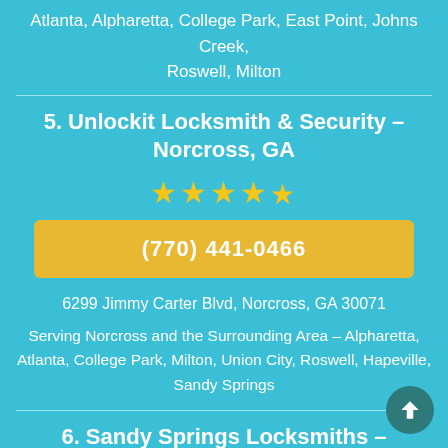Atlanta, Alpharetta, College Park, East Point, Johns Creek, Roswell, Milton
5. Unlockit Locksmith & Security – Norcross, GA
★★★★½
(770) 441-0466
6299 Jimmy Carter Blvd, Norcross, GA 30071
Serving Norcross and the Surrounding Area – Alpharetta, Atlanta, College Park, Milton, Union City, Roswell, Hapeville, Sandy Springs
6. Sandy Springs Locksmiths – Atlanta, GA
★★★★½
(404) 256-3780